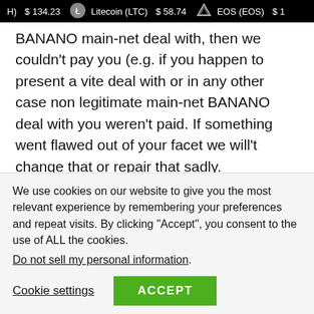H) $134.23  Litecoin (LTC) $58.74  EOS (EOS) $1
BANANO main-net deal with, then we couldn't pay you (e.g. if you happen to present a vite deal with or in any other case non legitimate main-net BANANO deal with you weren't paid. If something went flawed out of your facet we will't change that or repair that sadly.
Additionally, please double examine if you happen to actually didn't obtain the cost. It occurs very often that folks merely
We use cookies on our website to give you the most relevant experience by remembering your preferences and repeat visits. By clicking “Accept”, you consent to the use of ALL the cookies.
Do not sell my personal information.
Cookie settings  ACCEPT